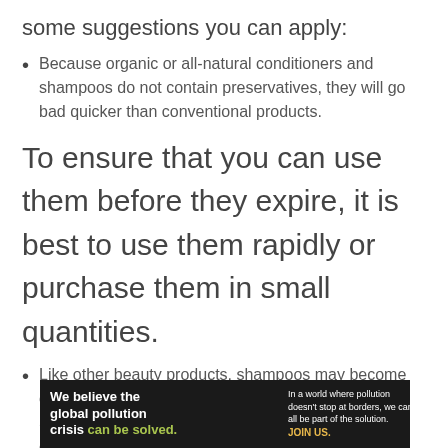some suggestions you can apply:
Because organic or all-natural conditioners and shampoos do not contain preservatives, they will go bad quicker than conventional products.
To ensure that you can use them before they expire, it is best to use them rapidly or purchase them in small quantities.
Like other beauty products, shampoos may become contaminated due to bacteria, mainly if mishandled. So, using your fingers or hands to get shampoo enables fungi and bacteria to enter the bottle. Also,
[Figure (infographic): Pure Earth advertisement banner with black background. Left side reads 'We believe the global pollution crisis can be solved.' (with 'can be solved' in green). Middle text reads 'In a world where pollution doesn't stop at borders, we can all be part of the solution. JOIN US.' Right side shows the Pure Earth logo (diamond shape with arrow) and 'PURE EARTH' text in white.]